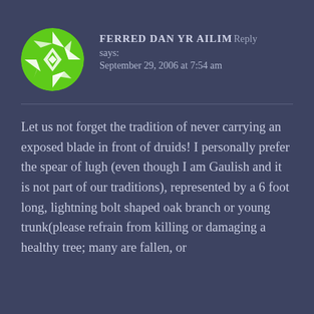[Figure (logo): Round green avatar with white geometric/celtic knot pattern]
FERRED DAN YR AILIM Reply says: September 29, 2006 at 7:54 am
Let us not forget the tradition of never carrying an exposed blade in front of druids! I personally prefer the spear of lugh (even though I am Gaulish and it is not part of our traditions), represented by a 6 foot long, lightning bolt shaped oak branch or young trunk(please refrain from killing or damaging a healthy tree; many are fallen, or